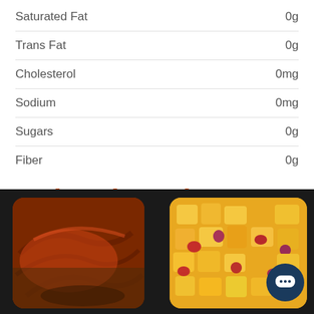| Nutrient | Amount |
| --- | --- |
| Saturated Fat | 0g |
| Trans Fat | 0g |
| Cholesterol | 0mg |
| Sodium | 0mg |
| Sugars | 0g |
| Fiber | 0g |
Related Products
[Figure (photo): Food meal in black tray - grilled/baked salmon with side dish]
[Figure (photo): Food meal in black tray - mango fruit salad with diced colorful fruits]